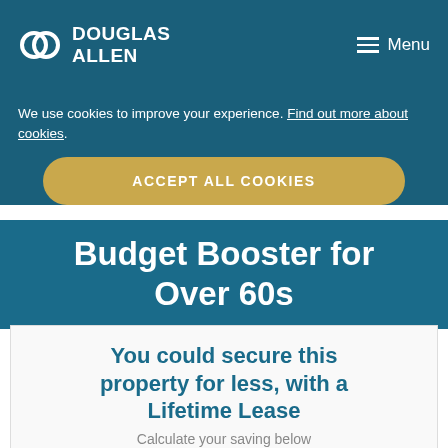DOUGLAS ALLEN
We use cookies to improve your experience. Find out more about cookies.
ACCEPT ALL COOKIES
Budget Booster for Over 60s
You could secure this property for less, with a Lifetime Lease
Calculate your saving below
Property price  £325,000